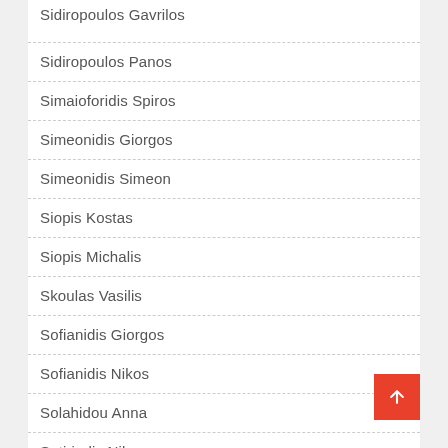Sidiropoulos Gavrilos
Sidiropoulos Panos
Simaioforidis Spiros
Simeonidis Giorgos
Simeonidis Simeon
Siopis Kostas
Siopis Michalis
Skoulas Vasilis
Sofianidis Giorgos
Sofianidis Nikos
Solahidou Anna
Sotiriadis Nikos
Sotiriadis Vasilis